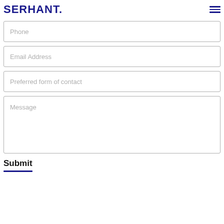SERHANT.
Phone
Email Address
Preferred form of contact
Message
Submit